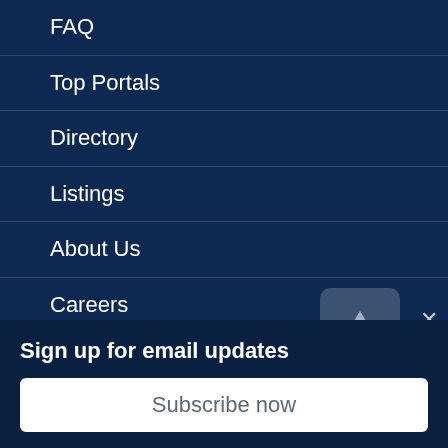FAQ
Top Portals
Directory
Listings
About Us
Careers
Privacy Policy
Terms Of Use
Contact Us
Cyprus Spa
Sign up for email updates
Subscribe now